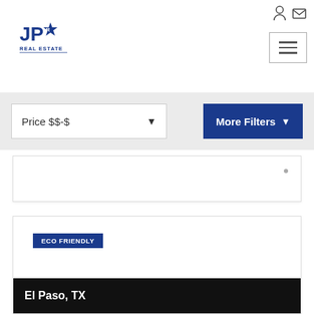[Figure (logo): JPAR Real Estate logo in blue]
[Figure (other): Navigation icons: login and email icons in top right]
[Figure (other): Hamburger menu button (three horizontal lines) in top right]
Price $$-$
More Filters
[Figure (other): Partial property listing card with gray dot]
ECO FRIENDLY
El Paso, TX